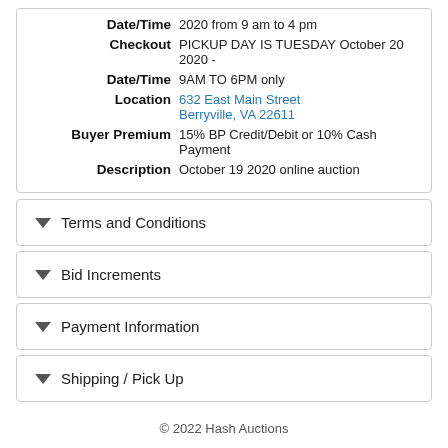Date/Time 2020 from 9 am to 4 pm
Checkout Date/Time PICKUP DAY IS TUESDAY October 20 2020 - 9AM TO 6PM only
Location 632 East Main Street Berryville, VA 22611
Buyer Premium 15% BP Credit/Debit or 10% Cash Payment
Description October 19 2020 online auction
Terms and Conditions
Bid Increments
Payment Information
Shipping / Pick Up
© 2022 Hash Auctions